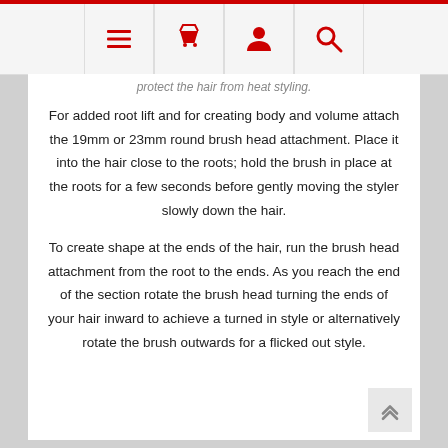[navigation bar with menu, basket, account, search icons]
protect the hair from heat styling.
For added root lift and for creating body and volume attach the 19mm or 23mm round brush head attachment. Place it into the hair close to the roots; hold the brush in place at the roots for a few seconds before gently moving the styler slowly down the hair.
To create shape at the ends of the hair, run the brush head attachment from the root to the ends. As you reach the end of the section rotate the brush head turning the ends of your hair inward to achieve a turned in style or alternatively rotate the brush outwards for a flicked out style.